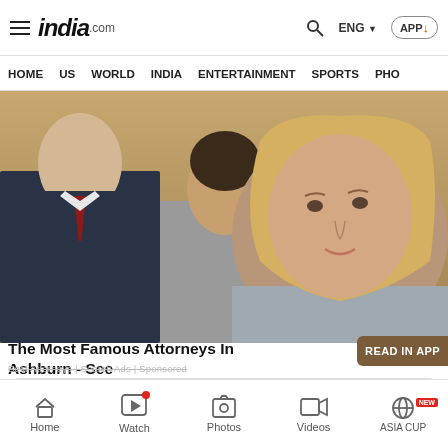india.com — ENG — APP
HOME  US  WORLD  INDIA  ENTERTAINMENT  SPORTS  PHO
[Figure (photo): Three attorneys in business attire standing in a courtroom or legal setting. A blonde woman in a grey blazer is in the foreground, a woman with dark hair in the middle, and a man in a dark suit with red tie in the background.]
The Most Famous Attorneys In Ashburn - See
Best Attorneys | Search Ads | Sponsored
Buy Your Used Car Your Way
CarMax
Home  Watch  Photos  Videos  ASIA CUP